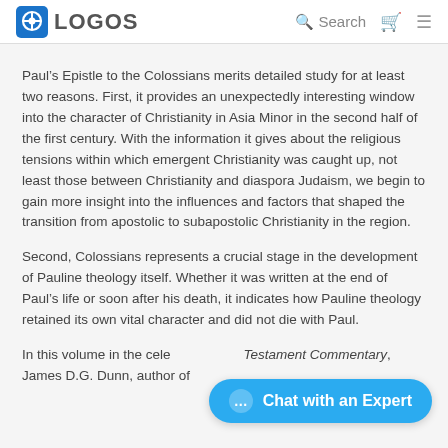LOGOS | Search
Paul’s Epistle to the Colossians merits detailed study for at least two reasons. First, it provides an unexpectedly interesting window into the character of Christianity in Asia Minor in the second half of the first century. With the information it gives about the religious tensions within which emergent Christianity was caught up, not least those between Christianity and diaspora Judaism, we begin to gain more insight into the influences and factors that shaped the transition from apostolic to subapostolic Christianity in the region.
Second, Colossians represents a crucial stage in the development of Pauline theology itself. Whether it was written at the end of Paul’s life or soon after his death, it indicates how Pauline theology retained its own vital character and did not die with Paul.
In this volume in the celebrated New Testament Commentary, James D.G. Dunn, author of